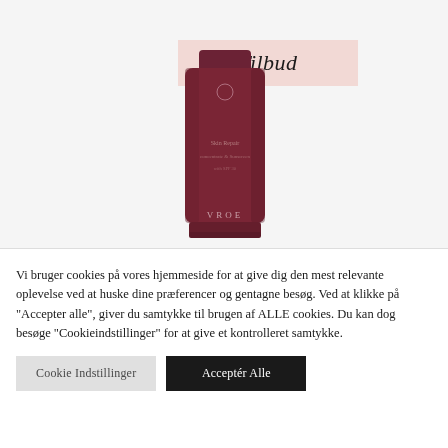[Figure (photo): A dark reddish-maroon cosmetic tube product (VROE brand) with a pink label banner reading 'Tilbud' (Danish for 'Offer/Deal') overlaid in the upper right area of the tube.]
Vi bruger cookies på vores hjemmeside for at give dig den mest relevante oplevelse ved at huske dine præferencer og gentagne besøg. Ved at klikke på "Accepter alle", giver du samtykke til brugen af ALLE cookies. Du kan dog besøge "Cookieindstillinger" for at give et kontrolleret samtykke.
Cookie Indstillinger
Acceptér Alle